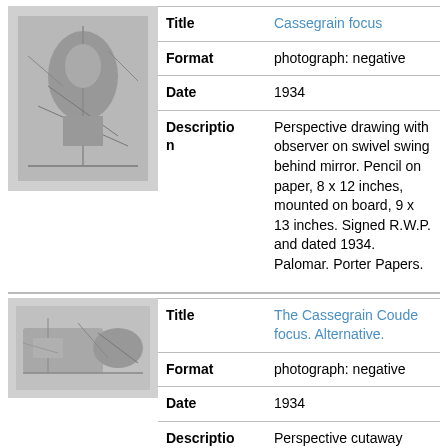[Figure (photo): Grayscale thumbnail of Cassegrain focus drawing]
| Title | Cassegrain focus |
| Format | photograph: negative |
| Date | 1934 |
| Description | Perspective drawing with observer on swivel swing behind mirror. Pencil on paper, 8 x 12 inches, mounted on board, 9 x 13 inches. Signed R.W.P. and dated 1934. Palomar. Porter Papers. |
[Figure (photo): Grayscale thumbnail of Cassegrain Coude focus drawing]
| Title | The Cassegrain Coude focus. Alternative. |
| Format | photograph: negative |
| Date | 1934 |
| Description | Perspective cutaway drawing of observing station built into trunnion. Pencil on paper, 12 x 9 inches, mounted on board, 13 x 9 inches. |